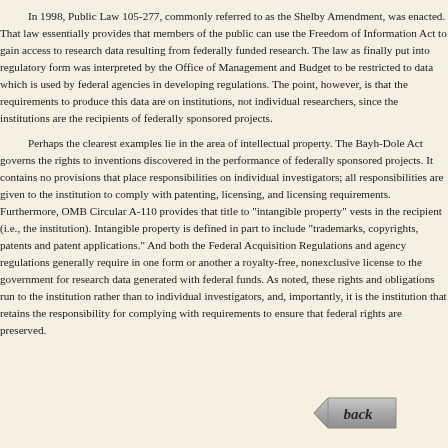In 1998, Public Law 105-277, commonly referred to as the Shelby Amendment, was enacted. That law essentially provides that members of the public can use the Freedom of Information Act to gain access to research data resulting from federally funded research. The law as finally put into regulatory form was interpreted by the Office of Management and Budget to be restricted to data which is used by federal agencies in developing regulations. The point, however, is that the requirements to produce this data are on institutions, not individual researchers, since the institutions are the recipients of federally sponsored projects.

Perhaps the clearest examples lie in the area of intellectual property. The Bayh-Dole Act governs the rights to inventions discovered in the performance of federally sponsored projects. It contains no provisions that place responsibilities on individual investigators; all responsibilities are given to the institution to comply with patenting, licensing, and licensing requirements. Furthermore, OMB Circular A-110 provides that title to "intangible property" vests in the recipient (i.e., the institution). Intangible property is defined in part to include "trademarks, copyrights, patents and patent applications." And both the Federal Acquisition Regulations and agency regulations generally require in one form or another a royalty-free, nonexclusive license to the government for research data generated with federal funds. As noted, these rights and obligations run to the institution rather than to individual investigators, and, importantly, it is the institution that retains the responsibility for complying with requirements to ensure that federal rights are preserved.
[Figure (other): A grey arrow-shaped 'back' button pointing left with italic bold text 'back' in the center]